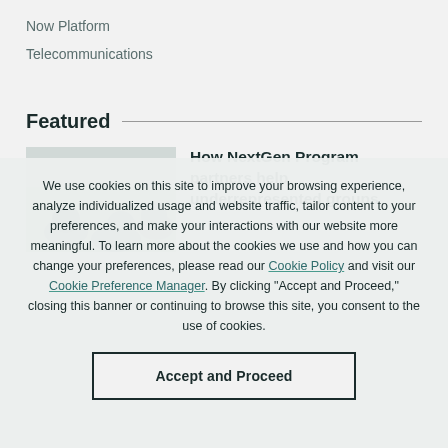Now Platform
Telecommunications
Featured
[Figure (photo): People viewed from above, appearing to be in a meeting or discussion]
How NextGen Program partners help underrepresented groups
We use cookies on this site to improve your browsing experience, analyze individualized usage and website traffic, tailor content to your preferences, and make your interactions with our website more meaningful. To learn more about the cookies we use and how you can change your preferences, please read our Cookie Policy and visit our Cookie Preference Manager. By clicking "Accept and Proceed," closing this banner or continuing to browse this site, you consent to the use of cookies.
Accept and Proceed